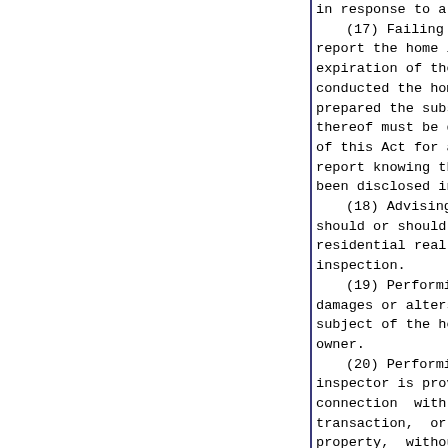in response to a written requ
(17) Failing to include w
report the home inspector's
expiration of the license. Th
conducted the home inspecti
prepared the subsequent wri
thereof must be disclosed in
of this Act for a home inspe
report knowing that the name
been disclosed in the home in
(18) Advising a client as
should or should not engage
residential real property th
inspection.
(19) Performing a home in
damages or alters the reside
subject of the home inspecti
owner.
(20) Performing a home in
inspector is providing or may
connection with the res
transaction, or has an inte
property, without providing
potential or actual conflict
of the client as provided by
(21) Aiding or assisting
any provision of this Act or
(22) Inability to practic
skill, or safety as a result
addiction to alcohol, narcot